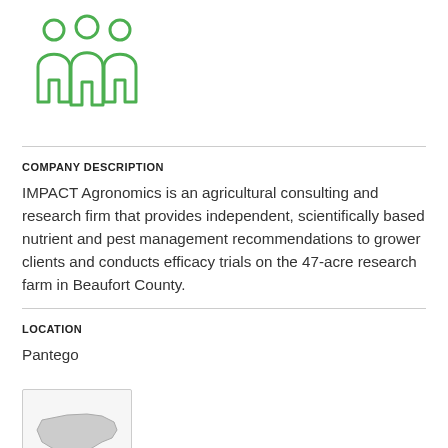[Figure (illustration): Green outline icon of three people/figures standing side by side, representing a group or company/team]
COMPANY DESCRIPTION
IMPACT Agronomics is an agricultural consulting and research firm that provides independent, scientifically based nutrient and pest management recommendations to grower clients and conducts efficacy trials on the 47-acre research farm in Beaufort County.
LOCATION
Pantego
[Figure (map): Small map thumbnail showing the outline of North Carolina state with a location marker]
COMPANY
Impact Consulting & S...